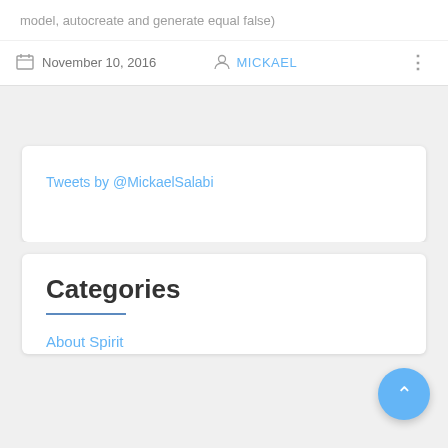model, autocreate and generate equal false)
November 10, 2016
MICKAEL
Tweets by @MickaelSalabi
Categories
About Spirit